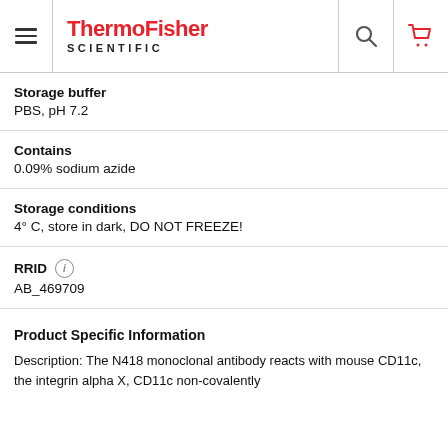ThermoFisher SCIENTIFIC
Storage buffer
PBS, pH 7.2
Contains
0.09% sodium azide
Storage conditions
4° C, store in dark, DO NOT FREEZE!
RRID
AB_469709
Product Specific Information
Description: The N418 monoclonal antibody reacts with mouse CD11c, the integrin alpha X, CD11c non-covalently